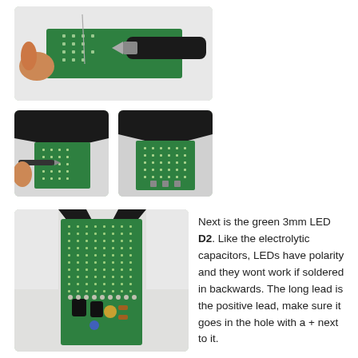[Figure (photo): Close-up photograph of a soldering iron tip touching a PCB with a component lead being soldered, fingers holding the board visible]
[Figure (photo): Close-up photo of a PCB being soldered with a fine tool, hands visible holding lead against board]
[Figure (photo): Photo of a PCB showing soldered component area, black background visible above the green board]
[Figure (photo): Larger photo of a green PCB with multiple components soldered on it, held up showing Y-shape with black clips above]
Next is the green 3mm LED D2. Like the electrolytic capacitors, LEDs have polarity and they wont work if soldered in backwards. The long lead is the positive lead, make sure it goes in the hole with a + next to it.